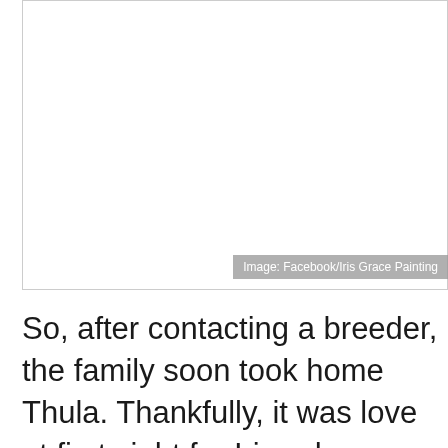[Figure (photo): Placeholder image area with light border, showing white/blank content area]
Image: Facebook/Iris Grace Painting
So, after contacting a breeder, the family soon took home Thula. Thankfully, it was love at first sight for Iris, who instantaneously reached out to hold the fluffy kitten. Thula, too, found a soul mate in Iris and, although she wasn't trained for therapy, the feline seemed to know just